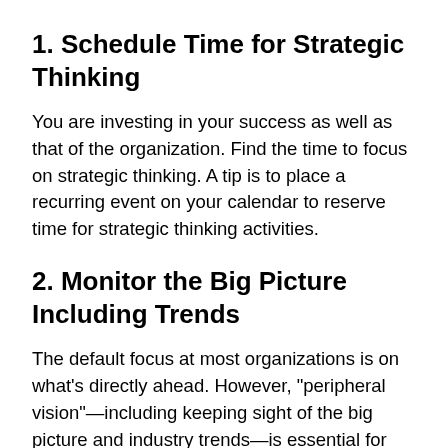1. Schedule Time for Strategic Thinking
You are investing in your success as well as that of the organization. Find the time to focus on strategic thinking. A tip is to place a recurring event on your calendar to reserve time for strategic thinking activities.
2. Monitor the Big Picture Including Trends
The default focus at most organizations is on what's directly ahead. However, "peripheral vision"—including keeping sight of the big picture and industry trends—is essential for long-term success. Some tips follow. Keep abreast of industry organizations and